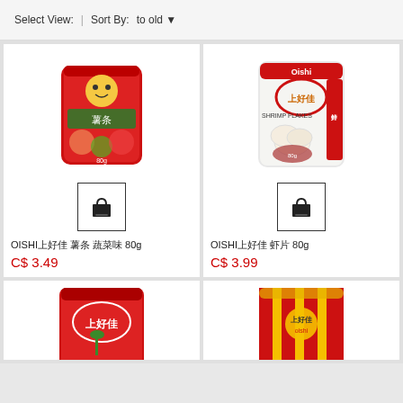Select View: | Sort By: to old
[Figure (photo): Red bag of OISHI snack product (薯条), Chinese text on packaging, 80g]
[Figure (illustration): Shopping bag icon button]
OISHI上好佳 薯条 蔬菜味 80g
C$ 3.49
[Figure (photo): Oishi 上好佳 Shrimp Flakes bag, white/red packaging with shrimp image, 80g]
[Figure (illustration): Shopping bag icon button]
OISHI上好佳 虾片 80g
C$ 3.99
[Figure (photo): Partial red bag of OISHI 上好佳 product with green vegetable imagery (bottom row, left, partially visible)]
[Figure (photo): Partial yellow/red striped bag of Oishi 上好佳 product (bottom row, right, partially visible)]